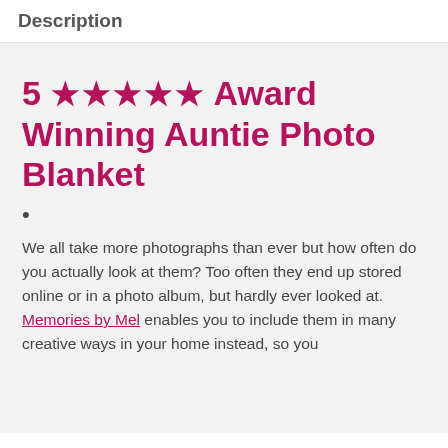Description
5 ★★★★★ Award Winning Auntie Photo Blanket
•
We all take more photographs than ever but how often do you actually look at them? Too often they end up stored online or in a photo album, but hardly ever looked at. Memories by Mel enables you to include them in many creative ways in your home instead, so you